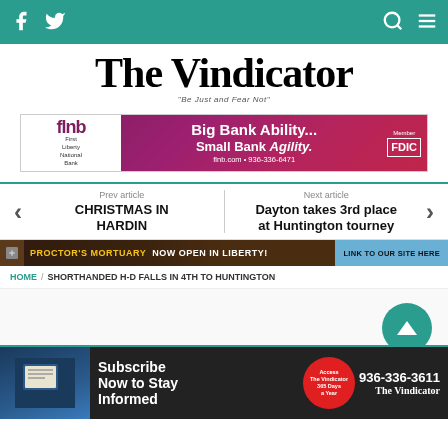Navigation bar with Facebook, Twitter, Search and Menu icons
The Vindicator
"Be Just and Fear Not"
[Figure (infographic): First Liberty National Bank banner ad: Big Bank Ability... Small Bank Agility. flnb.com • 936-336-6471. Member FDIC.]
Prev article
CHRISTMAS IN HARDIN
Next article
Dayton takes 3rd place at Huntington tourney
[Figure (infographic): Proctor's Mortuary - Now Open in Liberty! Link to our site here]
HOME / SHORTHANDED H-D FALLS IN 4TH TO HUNTINGTON
[Figure (infographic): Subscribe Now to Stay Informed - Access The Vindicator 365 Days a Year - 936-336-3611 - The Vindicator]